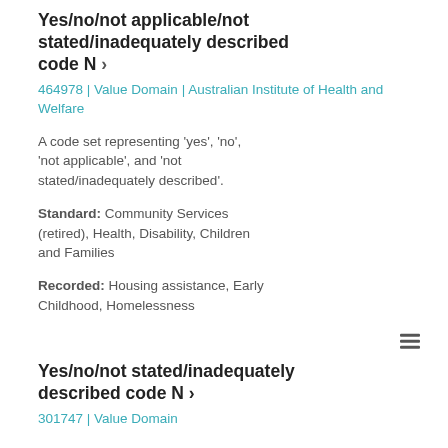Yes/no/not applicable/not stated/inadequately described code N ›
464978 | Value Domain | Australian Institute of Health and Welfare
A code set representing 'yes', 'no', 'not applicable', and 'not stated/inadequately described'.
Standard: Community Services (retired), Health, Disability, Children and Families
Recorded: Housing assistance, Early Childhood, Homelessness
Yes/no/not stated/inadequately described code N ›
301747 | Value Domain
A code set representing 'yes', 'no' and 'not stated/inadequately described'.